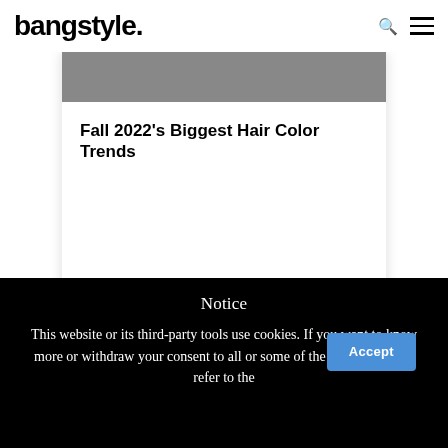bangstyle.
Fall 2022’s Biggest Hair Color Trends
Notice
This website or its third-party tools use cookies. If you want to know more or withdraw your consent to all or some of the cookies, please refer to the
Accept